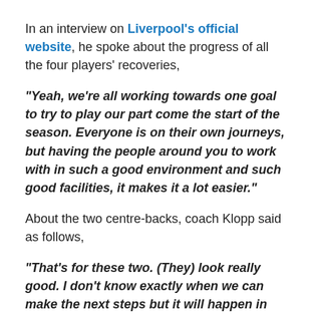In an interview on Liverpool's official website, he spoke about the progress of all the four players' recoveries,
“Yeah, we’re all working towards one goal to try to play our part come the start of the season. Everyone is on their own journeys, but having the people around you to work with in such a good environment and such good facilities, it makes it a lot easier.”
About the two centre-backs, coach Klopp said as follows,
“That’s for these two. (They) look really good. I don’t know exactly when we can make the next steps but it will happen in the next four weeks. For sure, we will get a big step forward.”
He also mentioned that Joel is the one who is the fastest to recover and would be training normally earlier as